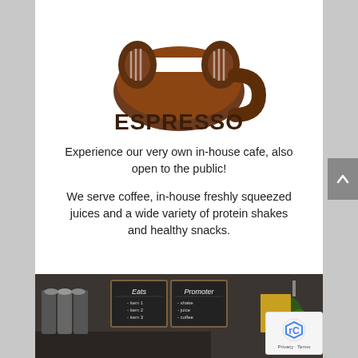[Figure (logo): Espresso cafe logo with a barbell/dumbbell icon over a coffee cup shape, text 'ESPRESSO' below in bold brown serif font]
Experience our very own in-house cafe, also open to the public!
We serve coffee, in-house freshly squeezed juices and a wide variety of protein shakes and healthy snacks.
[Figure (photo): Interior photo of the cafe showing a counter with cups stacked, chalkboard menus on the wall, and a plant in the corner]